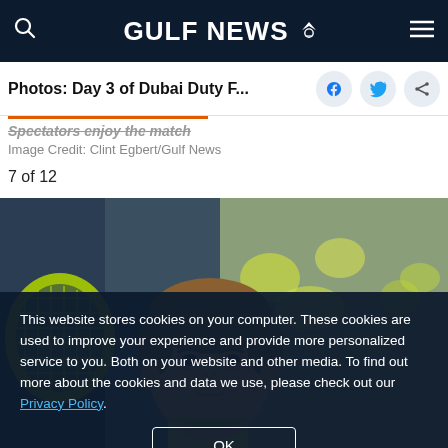GULF NEWS
Photos: Day 3 of Dubai Duty F...
Spectators enjoy the match
Image Credit: Clint Egbert/Gulf News
7 of 12
[Figure (photo): Tennis player holding a yellow tennis racket close to his face, looking focused, wearing a yellow outfit, blurred crowd in the background]
This website stores cookies on your computer. These cookies are used to improve your experience and provide more personalized service to you. Both on your website and other media. To find out more about the cookies and data we use, please check out our Privacy Policy.